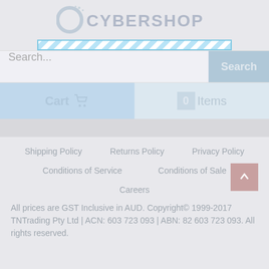[Figure (logo): CyberShop logo with circular C icon and stylized text]
Search...  Search
Cart  0 Items
Shipping Policy   Returns Policy   Privacy Policy
Conditions of Service   Conditions of Sale
Careers
All prices are GST Inclusive in AUD. Copyright© 1999-2017 TNTrading Pty Ltd | ACN: 603 723 093 | ABN: 82 603 723 093. All rights reserved.